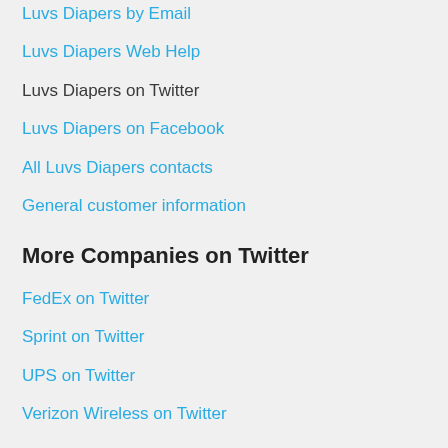Luvs Diapers by Email
Luvs Diapers Web Help
Luvs Diapers on Twitter
Luvs Diapers on Facebook
All Luvs Diapers contacts
General customer information
More Companies on Twitter
FedEx on Twitter
Sprint on Twitter
UPS on Twitter
Verizon Wireless on Twitter